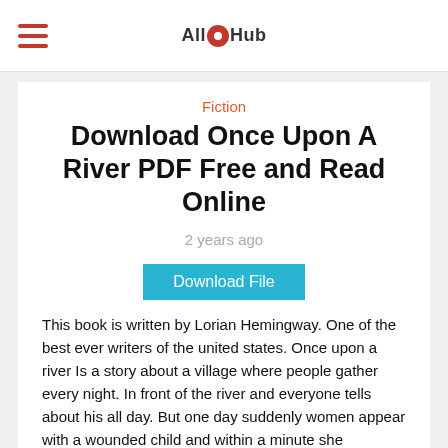AllEHub
Fiction
Download Once Upon A River PDF Free and Read Online
2 years ago
Download File
This book is written by Lorian Hemingway. One of the best ever writers of the united states. Once upon a river Is a story about a village where people gather every night. In front of the river and everyone tells about his all day. But one day suddenly women appear with a wounded child and within a minute she completely loses. And the child disappeared and peoples of that village start searching
[Figure (photo): Dark image strip at the bottom of the page, partially visible]